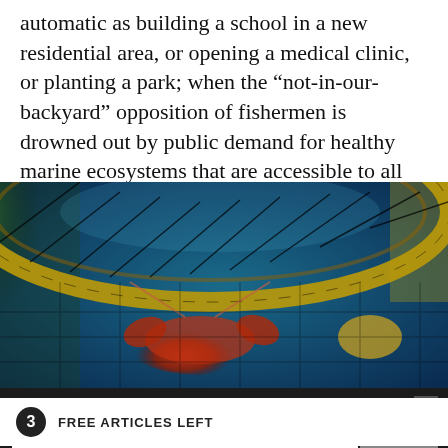automatic as building a school in a new residential area, or opening a medical clinic, or planting a park; when the “not-in-our-backyard” opposition of fishermen is drowned out by public demand for healthy marine ecosystems that are accessible to all and preserved for all.
[Figure (photo): Underwater photo showing a large circular fish trap or crab pot made of wire mesh with yellow/gold and dark diamond pattern along the rim, with a red crustacean (lobster or crab) visible beneath it, set against a blue-green underwater background with kelp.]
SUBSCRIBE TO OUR FREE NEWSLETTER FOR NEWS AND PRIZES
Email
SUBMIT
3 FREE ARTICLES LEFT